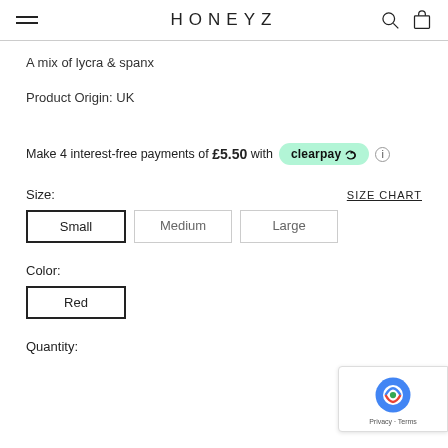HONEYZ
A mix of lycra & spanx
Product Origin: UK
Make 4 interest-free payments of £5.50 with clearpay
Size:
SIZE CHART
Small  Medium  Large
Color:
Red
Quantity: